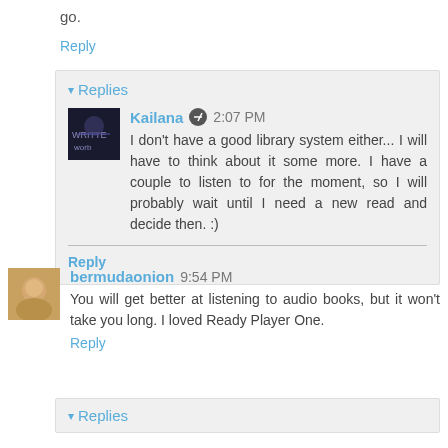go.
Reply
▾ Replies
Kailana  2:07 PM
I don't have a good library system either... I will have to think about it some more. I have a couple to listen to for the moment, so I will probably wait until I need a new read and decide then. :)
Reply
bermudaonion  9:54 PM
You will get better at listening to audio books, but it won't take you long. I loved Ready Player One.
Reply
▾ Replies